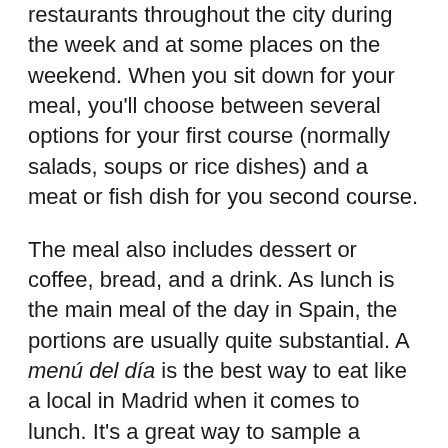restaurants throughout the city during the week and at some places on the weekend. When you sit down for your meal, you'll choose between several options for your first course (normally salads, soups or rice dishes) and a meat or fish dish for you second course.
The meal also includes dessert or coffee, bread, and a drink. As lunch is the main meal of the day in Spain, the portions are usually quite substantial. A menú del día is the best way to eat like a local in Madrid when it comes to lunch. It's a great way to sample a number of dishes in the same meal, and for between 10 and 15 euros per person, the price can't be beat!
For a traditional menú del día of Spanish home cooking, we love La Sanabresa (Calle Amor de